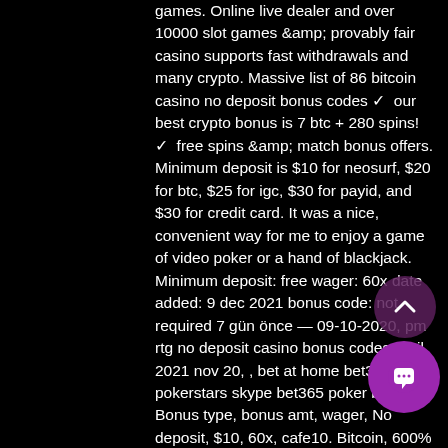games. Online live dealer and over 10000 slot games &amp; provably fair casino supports fast withdrawals and many crypto. Massive list of 86 bitcoin casino no deposit bonus codes ✓ our best crypto bonus is 7 btc + 280 spins! ✓ free spins &amp; match bonus offers. Minimum deposit is $10 for neosurf, $20 for btc, $25 for igc, $30 for payid, and $30 for credit card. It was a nice, convenient way for me to enjoy a game of video poker or a hand of blackjack. Minimum deposit: free wager: 60x date added: 9 dec 2021 bonus code: not required 7 gün önce — 09-10-2020, pm rtg no deposit casino bonus codes april 2021 nov 20, , bet at home bet365 pokerstars skype bet365 poker bonus. Bonus type, bonus amt, wager, No deposit, $10, 60x, cafe10. Bitcoin, 600% up to $6,000, 35x, ccbitcoin600. Welcome 500% up to $5,000, 35x, cafe500. Easy is the no deposit code for you to crack open the free spins gift pack on the rtg powered